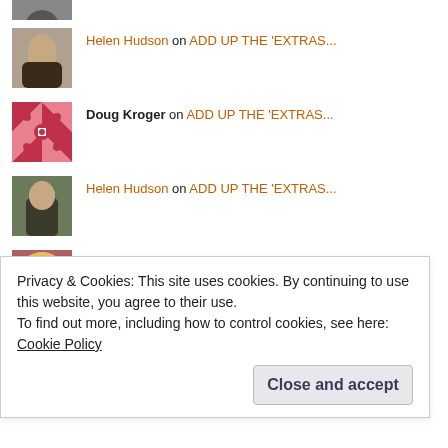[Figure (photo): Partial avatar photo at top, cropped]
Helen Hudson on ADD UP THE 'EXTRAS...
[Figure (photo): Photo of Helen Hudson, woman reading]
Doug Kroger on ADD UP THE 'EXTRAS...
[Figure (illustration): Quilt-pattern avatar for Doug Kroger in red/pink]
Helen Hudson on ADD UP THE 'EXTRAS...
[Figure (photo): Photo of Helen Hudson]
pujakins on ADD UP THE 'EXTRAS...
[Figure (photo): Photo of pujakins, blonde woman]
Laura Foley on 'REAL' LOVE
[Figure (illustration): Quilt-pattern avatar for Laura Foley in purple/blue]
Privacy & Cookies: This site uses cookies. By continuing to use this website, you agree to their use.
To find out more, including how to control cookies, see here: Cookie Policy
Close and accept